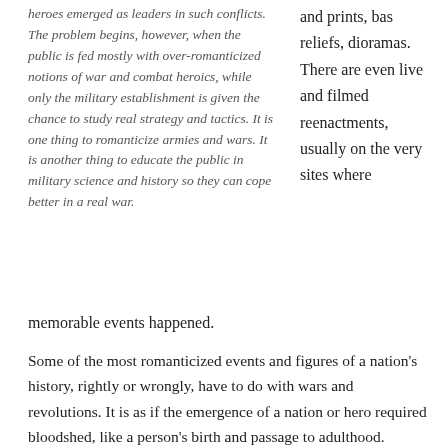heroes emerged as leaders in such conflicts. The problem begins, however, when the public is fed mostly with over-romanticized notions of war and combat heroics, while only the military establishment is given the chance to study real strategy and tactics. It is one thing to romanticize armies and wars. It is another thing to educate the public in military science and history so they can cope better in a real war.
and prints, bas reliefs, dioramas. There are even live and filmed reenactments, usually on the very sites where
memorable events happened.
Some of the most romanticized events and figures of a nation's history, rightly or wrongly, have to do with wars and revolutions. It is as if the emergence of a nation or hero required bloodshed, like a person's birth and passage to adulthood.